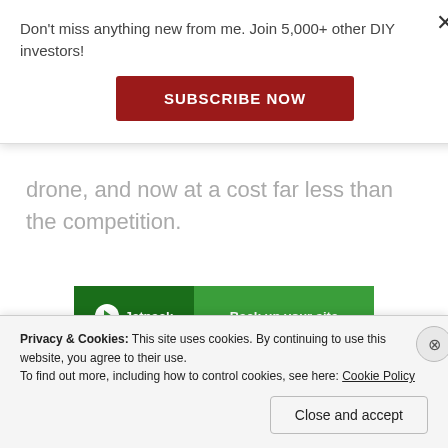Don't miss anything new from me. Join 5,000+ other DIY investors!
[Figure (other): Dark red 'SUBSCRIBE NOW' button]
drone, and now at a cost far less than the competition.
[Figure (other): Jetpack green advertisement banner with 'Back up your site' text and Jetpack logo]
REPORT THIS AD
Privacy & Cookies: This site uses cookies. By continuing to use this website, you agree to their use.
To find out more, including how to control cookies, see here: Cookie Policy
[Figure (other): Close and accept button for cookie banner]